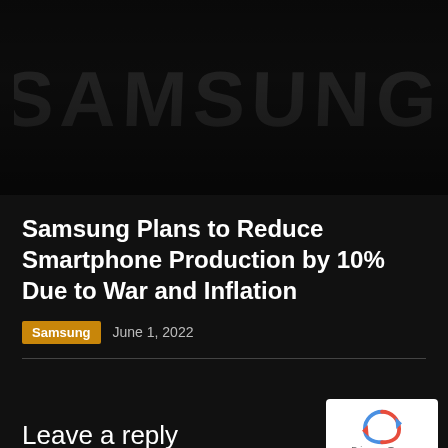[Figure (photo): Dark background photo with Samsung logo text visible in large embossed/dark letters]
Samsung Plans to Reduce Smartphone Production by 10% Due to War and Inflation
Samsung   June 1, 2022
Leave a reply